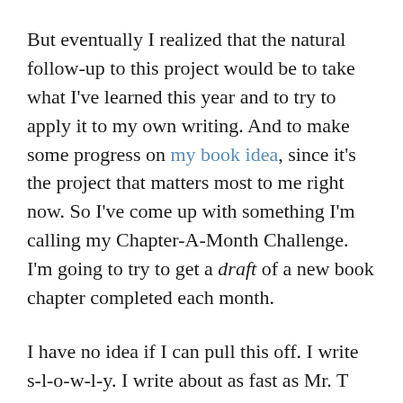But eventually I realized that the natural follow-up to this project would be to take what I've learned this year and to try to apply it to my own writing. And to make some progress on my book idea, since it's the project that matters most to me right now. So I've come up with something I'm calling my Chapter-A-Month Challenge. I'm going to try to get a draft of a new book chapter completed each month.
I have no idea if I can pull this off. I write s-l-o-w-l-y. I write about as fast as Mr. T brushes his teeth, because he spends most of his brushing time making faces in the mirror. But at least I